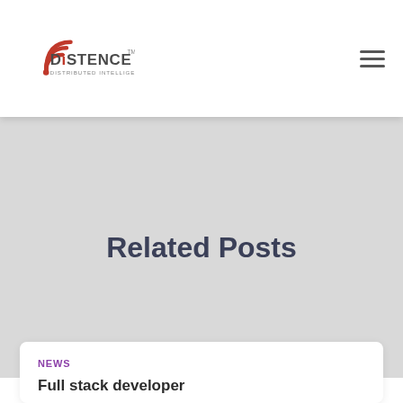DiSTENCE — DISTRIBUTED INTELLIGENCE
Related Posts
NEWS
Full stack developer